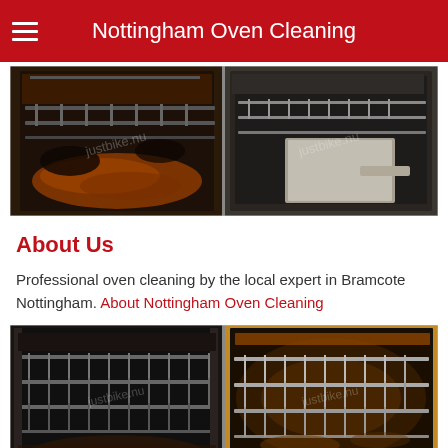Nottingham Oven Cleaning
[Figure (photo): Before and after oven cleaning photo: left side shows a heavily soiled, burnt oven interior with dark grease and grime on the racks and walls; right side shows a clean oven interior with spotless racks and glass door, plus a clean drawer visible at bottom right.]
About Us
Professional oven cleaning by the local expert in Bramcote Nottingham. About Nottingham Oven Cleaning
[Figure (photo): Before and after oven cleaning photo: left side shows a moderately soiled oven interior with racks; right side shows a clean oven interior with shiny racks and walls, both lit from inside.]